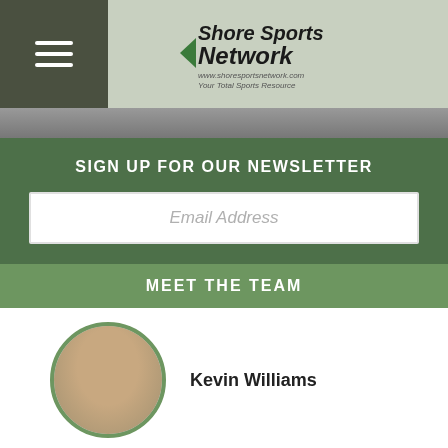[Figure (logo): Shore Sports Network logo with hamburger menu icon and green background header]
[Figure (photo): Cropped photo strip showing partial view of a person]
SIGN UP FOR OUR NEWSLETTER
Email Address
MEET THE TEAM
Kevin Williams
Steven Meyer